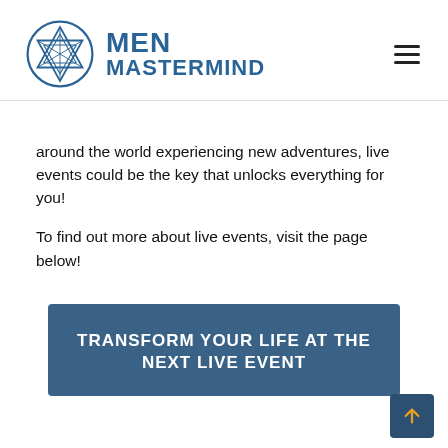MEN MASTERMIND
around the world experiencing new adventures, live events could be the key that unlocks everything for you!
To find out more about live events, visit the page below!
[Figure (other): Call-to-action button strip with text TRANSFORM YOUR LIFE AT THE NEXT LIVE EVENT on a dark blue background]
[Figure (other): Back to top arrow button, dark blue square with upward arrow]